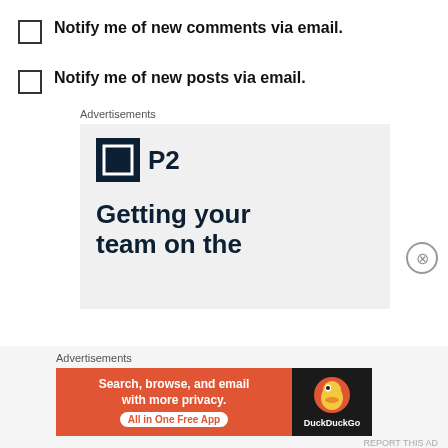Notify me of new comments via email.
Notify me of new posts via email.
Advertisements
[Figure (screenshot): P2 advertisement showing logo with grid icon and text 'Getting your team on the']
Advertisements
[Figure (screenshot): DuckDuckGo advertisement: Search, browse, and email with more privacy. All in One Free App]